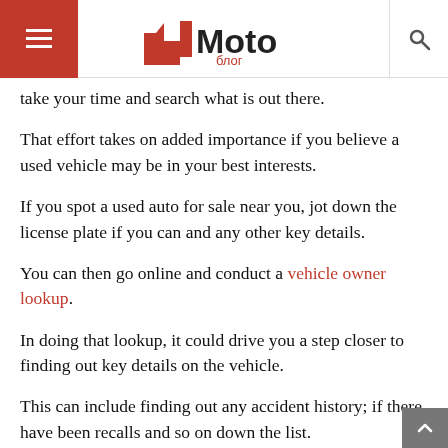4Moto blog
take your time and search what is out there.
That effort takes on added importance if you believe a used vehicle may be in your best interests.
If you spot a used auto for sale near you, jot down the license plate if you can and any other key details.
You can then go online and conduct a vehicle owner lookup.
In doing that lookup, it could drive you a step closer to finding out key details on the vehicle.
This can include finding out any accident history; if there have been recalls and so on down the list.
At the end of the day, the right vehicle plays a big part in your safety.
Even with the right vehicle, be sure you do all you can to take care of it.